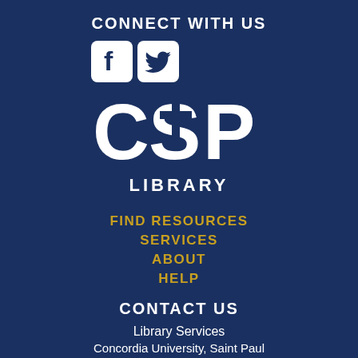CONNECT WITH US
[Figure (logo): Facebook and Twitter social media icons (white squares with rounded corners containing the Facebook 'f' logo and Twitter bird logo), followed by the CSP Library logo (large white letters C S P with a cross integrated into the S)]
LIBRARY
FIND RESOURCES
SERVICES
ABOUT
HELP
CONTACT US
Library Services
Concordia University, Saint Paul